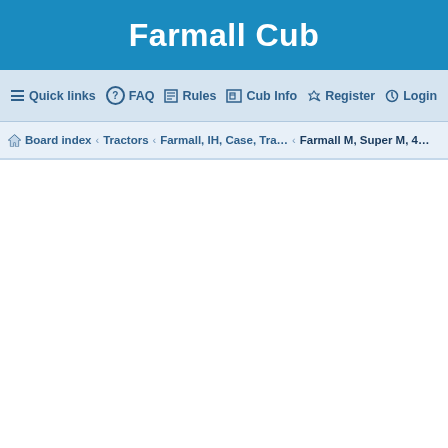Farmall Cub
Quick links  FAQ  Rules  Cub Info  Register  Login
Board index › Tractors › Farmall, IH, Case, Tra… › Farmall M, Super M, 4…